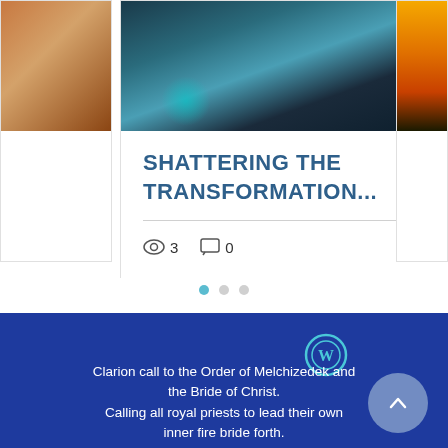[Figure (photo): Carousel card: fantasy/surreal image of a sleeping woman with butterflies and colorful mystical elements including teal butterfly wings and a golden orb]
SHATTERING THE TRANSFORMATION...
3 views, 0 comments, 1 like
[Figure (infographic): Pagination dots: one active teal dot and two inactive grey dots]
[Figure (logo): WordPress logo icon in teal on dark blue background]
Clarion call to the Order of Melchizedek and the Bride of Christ. Calling all royal priests to lead their own inner fire bride forth.